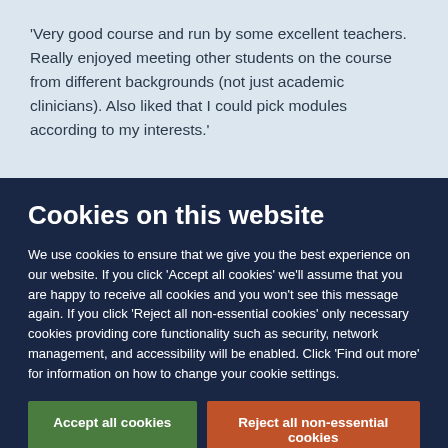'Very good course and run by some excellent teachers. Really enjoyed meeting other students on the course from different backgrounds (not just academic clinicians). Also liked that I could pick modules according to my interests.'
Cookies on this website
We use cookies to ensure that we give you the best experience on our website. If you click 'Accept all cookies' we'll assume that you are happy to receive all cookies and you won't see this message again. If you click 'Reject all non-essential cookies' only necessary cookies providing core functionality such as security, network management, and accessibility will be enabled. Click 'Find out more' for information on how to change your cookie settings.
Accept all cookies
Reject all non-essential cookies